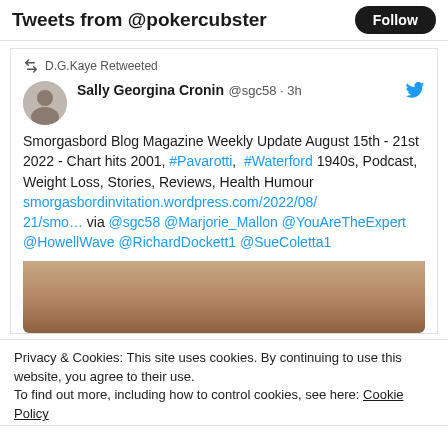Tweets from @pokercubster
D.G.Kaye Retweeted
Sally Georgina Cronin @sgc58 · 3h
Smorgasbord Blog Magazine Weekly Update August 15th - 21st 2022 - Chart hits 2001, #Pavarotti, #Waterford 1940s, Podcast, Weight Loss, Stories, Reviews, Health Humour smorgasbordinvitation.wordpress.com/2022/08/21/smo… via @sgc58 @Marjorie_Mallon @YouAreTheExpert @HowellWave @RichardDockett1 @SueColetta1
[Figure (photo): Partial close-up photo of a person's face, cropped to show forehead and eyes area]
Privacy & Cookies: This site uses cookies. By continuing to use this website, you agree to their use.
To find out more, including how to control cookies, see here: Cookie Policy
Close and accept